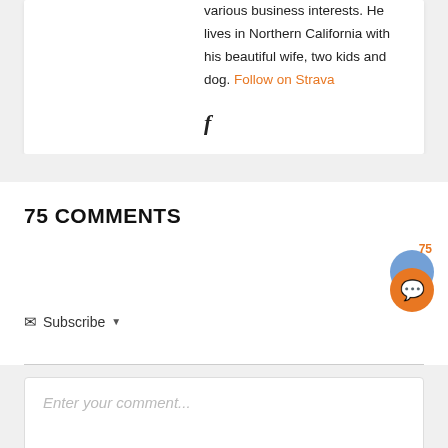various business interests. He lives in Northern California with his beautiful wife, two kids and dog. Follow on Strava
[Figure (illustration): Facebook icon (letter f in bold serif italic)]
75 COMMENTS
Subscribe (dropdown arrow)
[Figure (infographic): Chat widget with orange circle showing chat bubble icon and badge showing number 75]
Enter your comment...